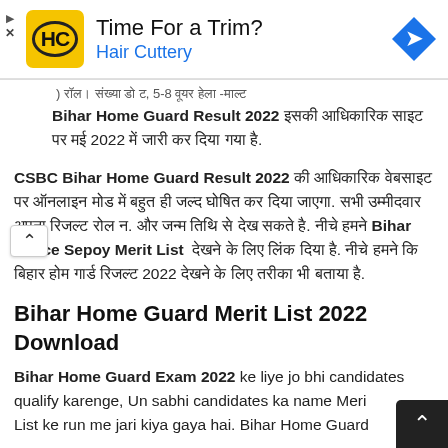[Figure (other): Advertisement banner for Hair Cuttery with logo, text 'Time For a Trim? Hair Cuttery', navigation arrow icon, and ad controls (triangle and X)]
...Bihar Home Guard Result 2022 इसकी आधिकारिक साइट पर मई 2022 में जारी कर दिया गया है.
CSBC Bihar Home Guard Result 2022 की आधिकारिक वेबसाइट पर ऑनलाइन मोड में बहुत ही जल्द घोषित कर दिया जाएगा. सभी उम्मीदवार अपना रिजल्ट रोल न. और जन्म तिथि से देख सकते है. नीचे हमने Bihar Police Sepoy Merit List  देखने के लिए लिंक दिया है. नीचे हमने कि बिहार होम गार्ड रिजल्ट 2022 देखने के लिए तरीका भी बताया है.
Bihar Home Guard Merit List 2022 Download
Bihar Home Guard Exam 2022 ke liye jo bhi candidates qualify karenge, Un sabhi candidates ka name Merit List ke run me jari kiya gaya hai. Bihar Home Guard...